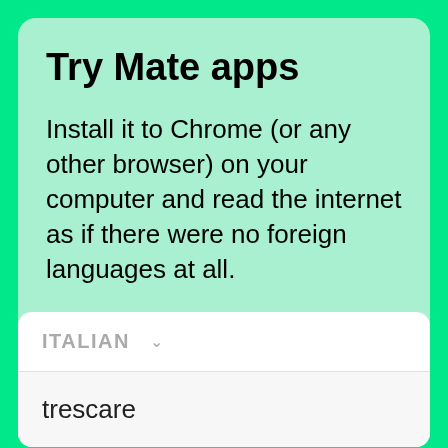Try Mate apps
Install it to Chrome (or any other browser) on your computer and read the internet as if there were no foreign languages at all.
GET FOR FREE
ITALIAN
trescare